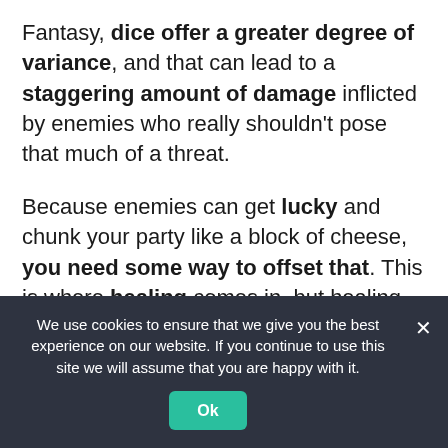Fantasy, dice offer a greater degree of variance, and that can lead to a staggering amount of damage inflicted by enemies who really shouldn't pose that much of a threat.
Because enemies can get lucky and chunk your party like a block of cheese, you need some way to offset that. This is where healing comes in, but healing does not come easily. You can buy expensive potions, or you can craft them with...
We use cookies to ensure that we give you the best experience on our website. If you continue to use this site we will assume that you are happy with it.